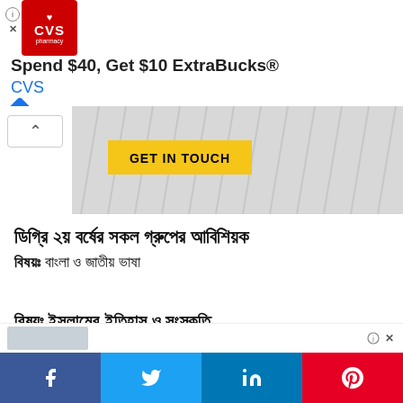[Figure (screenshot): CVS Pharmacy advertisement banner: red CVS logo on left, text 'Spend $40, Get $10 ExtraBucks® CVS' in center, blue navigation diamond icon on right]
[Figure (photo): Hero image with diagonal paper/document lines background and yellow 'GET IN TOUCH' button overlay]
ডিগ্রি ২য় বর্ষের সকল গ্রুপের আবিশিয়ক
বিষয়ঃ বাংলা ও জাতীয় ভাষা
বিষয়ঃ ইসলামের ইতিহাস ও সংস্কৃতি
| Paper Code | Paper | Paper Title |
| --- | --- | --- |
[Figure (screenshot): Partial bottom advertisement image, partially visible]
[Figure (infographic): Social share buttons bar at bottom: Facebook (blue), Twitter (light blue), LinkedIn (dark blue), Pinterest (red) with respective icons]